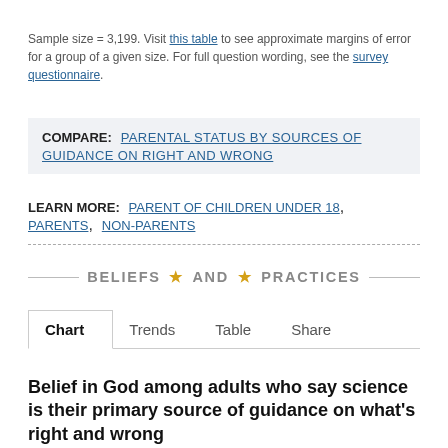Sample size = 3,199. Visit this table to see approximate margins of error for a group of a given size. For full question wording, see the survey questionnaire.
COMPARE: PARENTAL STATUS BY SOURCES OF GUIDANCE ON RIGHT AND WRONG
LEARN MORE: PARENT OF CHILDREN UNDER 18, PARENTS, NON-PARENTS
BELIEFS ★ AND ★ PRACTICES
Chart | Trends | Table | Share
Belief in God among adults who say science is their primary source of guidance on what's right and wrong